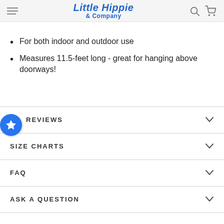Little Hippie & Company
For both indoor and outdoor use
Measures 11.5-feet long - great for hanging above doorways!
REVIEWS
SIZE CHARTS
FAQ
ASK A QUESTION